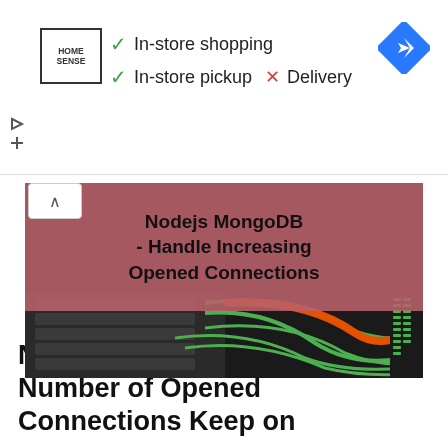[Figure (screenshot): Advertisement banner for HomeSense showing in-store shopping availability with green checkmarks for 'In-store shopping' and 'In-store pickup', red X for 'Delivery', HomeSense logo on left, blue navigation diamond icon on right]
[Figure (photo): Article thumbnail image showing server rack with green and orange network cables, overlaid with pink/mauve title banner reading 'Nodejs MongoDB - Handle Increasing Opened Connections']
Nodejs with MongoDB - Number of Opened Connections Keep on